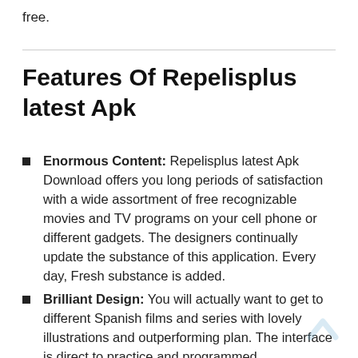free.
Features Of Repelisplus latest Apk
Enormous Content: Repelisplus latest Apk Download offers you long periods of satisfaction with a wide assortment of free recognizable movies and TV programs on your cell phone or different gadgets. The designers continually update the substance of this application. Every day, Fresh substance is added.
Brilliant Design: You will actually want to get to different Spanish films and series with lovely illustrations and outperforming plan. The interface is direct to practice and programmed.
Disconnected WORKING: The most supportive